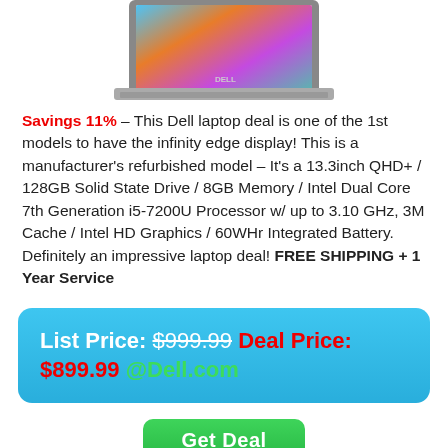[Figure (photo): Partial view of a Dell laptop (top portion, showing screen and keyboard) on white background]
Savings 11% – This Dell laptop deal is one of the 1st models to have the infinity edge display! This is a manufacturer's refurbished model – It's a 13.3inch QHD+ / 128GB Solid State Drive / 8GB Memory / Intel Dual Core 7th Generation i5-7200U Processor w/ up to 3.10 GHz, 3M Cache / Intel HD Graphics / 60WHr Integrated Battery. Definitely an impressive laptop deal! FREE SHIPPING + 1 Year Service
List Price: $999.99 Deal Price: $899.99 @Dell.com
Get Deal